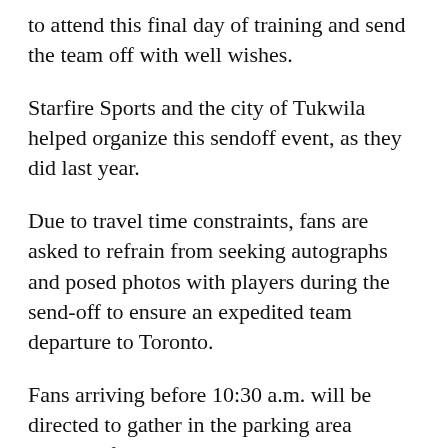to attend this final day of training and send the team off with well wishes.
Starfire Sports and the city of Tukwila helped organize this sendoff event, as they did last year.
Due to travel time constraints, fans are asked to refrain from seeking autographs and posed photos with players during the send-off to ensure an expedited team departure to Toronto.
Fans arriving before 10:30 a.m. will be directed to gather in the parking area outside of Field 10 until the training session is opened for fan viewing. Space is limited in the practice viewing area and is available on a first-come, first-served basis, though there is plenty of space for all interested supporters to line the player walkway from the pitches to the locker